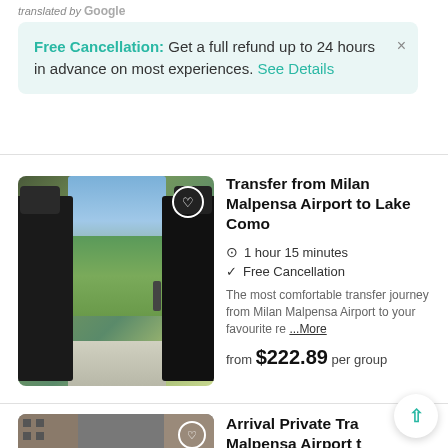translated by Google
Free Cancellation: Get a full refund up to 24 hours in advance on most experiences. See Details
[Figure (photo): Van interior view showing seats, with a scenic view of lake and green garden outside the window]
Transfer from Milan Malpensa Airport to Lake Como
1 hour 15 minutes
Free Cancellation
The most comfortable transfer journey from Milan Malpensa Airport to your favourite re ... More
from $222.89 per group
[Figure (photo): Black luxury van parked near brick building]
Arrival Private Transfer from Malpensa Airport to Milan in Luxury Van